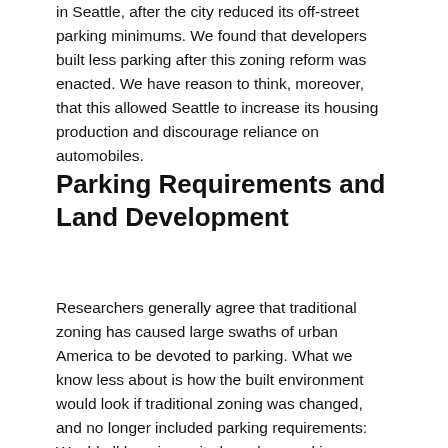in Seattle, after the city reduced its off-street parking minimums. We found that developers built less parking after this zoning reform was enacted. We have reason to think, moreover, that this allowed Seattle to increase its housing production and discourage reliance on automobiles.
Parking Requirements and Land Development
Researchers generally agree that traditional zoning has caused large swaths of urban America to be devoted to parking. What we know less about is how the built environment would look if traditional zoning was changed, and no longer included parking requirements: Would all housing units have less parking, or would we see a wider variety of parking/housing combinations — for instance, some homes with ample parking but also many apartments